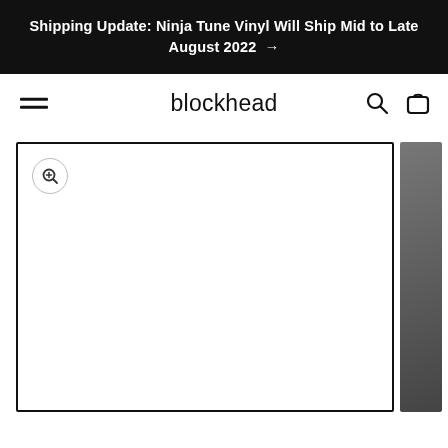Shipping Update: Ninja Tune Vinyl Will Ship Mid to Late August 2022 →
[Figure (screenshot): Website navigation bar with hamburger menu on left, 'blockhead' logo in center, search and cart icons on right]
[Figure (photo): Product image viewer with zoom button in top-left corner, main white product image area bordered in black, and a partially visible thumbnail on the right edge]